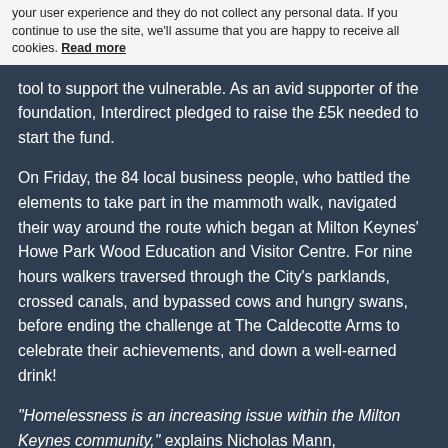your user experience and they do not collect any personal data. If you continue to use the site, we'll assume that you are happy to receive all cookies. Read more
tool to support the vulnerable. As an avid supporter of the foundation, Interdirect pledged to raise the £5k needed to start the fund.
On Friday, the 84 local business people, who battled the elements to take part in the mammoth walk, navigated their way around the route which began at Milton Keynes' Howe Park Wood Education and Visitor Centre. For nine hours walkers traversed through the City's parklands, crossed canals, and bypassed cows and hungry swans, before ending the challenge at The Caldecotte Arms to celebrate their achievements, and down a well-earned drink!
"Homelessness is an increasing issue within the Milton Keynes community," explains Nicholas Mann,